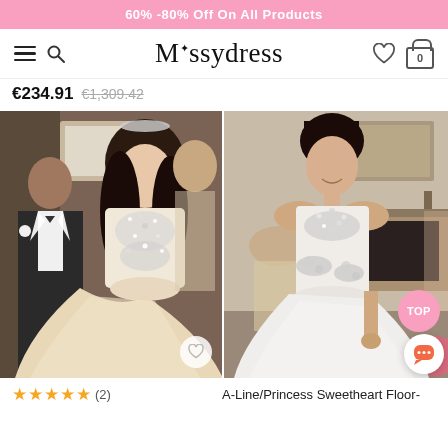60% -80% Off On All Products
[Figure (logo): Missydress logo with hamburger menu, search icon, heart icon, and cart icon showing 0 items]
€234.91  €1,309.42
[Figure (photo): Two side-by-side wedding dress photos. Left: bride in a strapless ball gown with crystal/rhinestone embellishments on bodice, champagne/ivory satin skirt, with a man in a tuxedo. Right: bride in a white A-line/princess sweetheart floor-length gown with rhinestone appliques, standing in a room.]
★★★★★ (2)
A-Line/Princess Sweetheart Floor-